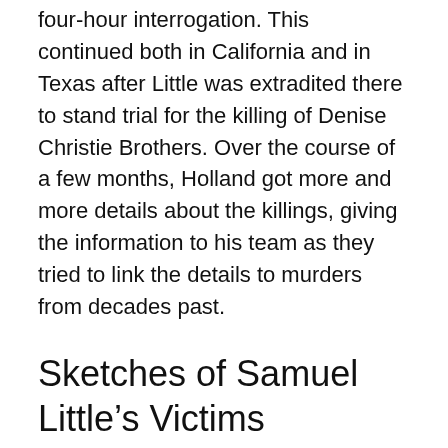four-hour interrogation. This continued both in California and in Texas after Little was extradited there to stand trial for the killing of Denise Christie Brothers. Over the course of a few months, Holland got more and more details about the killings, giving the information to his team as they tried to link the details to murders from decades past.
Sketches of Samuel Little's Victims
Part of why these cases were starting to close was because while he didn't remember everything, Little remembered so much about so many of his victims. He drew sketches of them